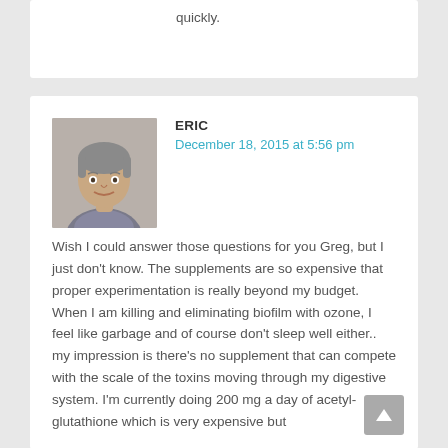quickly.
ERIC
December 18, 2015 at 5:56 pm
Wish I could answer those questions for you Greg, but I just don't know. The supplements are so expensive that proper experimentation is really beyond my budget. When I am killing and eliminating biofilm with ozone, I feel like garbage and of course don't sleep well either.. my impression is there's no supplement that can compete with the scale of the toxins moving through my digestive system. I'm currently doing 200 mg a day of acetyl-glutathione which is very expensive but